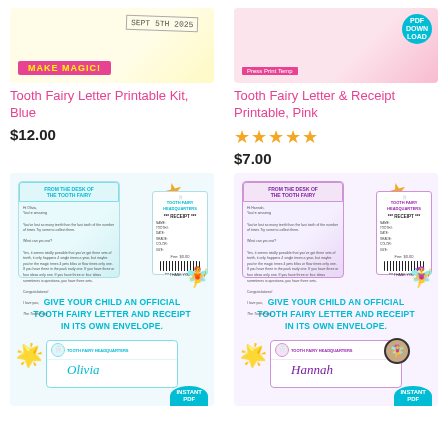[Figure (photo): Tooth Fairy Letter Printable Kit Blue product image with stamp reading SEPT 5TH 2025 and pink MAKE MAGIC banner]
[Figure (photo): Tooth Fairy Letter and Receipt Printable Pink product image with PDF DOWNLOAD badge]
Tooth Fairy Letter Printable Kit, Blue
Tooth Fairy Letter & Receipt Printable, Pink
$12.00
[Figure (other): 5-star rating for Tooth Fairy Letter & Receipt Printable Pink]
$7.00
[Figure (photo): Preview of blue tooth fairy letter with receipt showing FROM THE DESK OF THE TOOTH FAIRY header, fairy illustration, gold star decoration, and GIVE YOUR CHILD AN OFFICIAL TOOTH FAIRY LETTER AND RECEIPT IN ITS OWN ENVELOPE text and envelope with name Olivia]
[Figure (photo): Preview of purple tooth fairy letter with receipt showing FROM THE DESK OF THE TOOTH FAIRY header, darker fairy illustration, gold star decoration, and GIVE YOUR CHILD AN OFFICIAL TOOTH FAIRY LETTER AND RECEIPT IN ITS OWN ENVELOPE text and envelope with name Hannah]